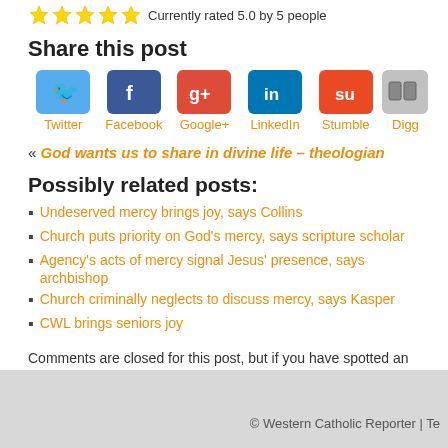Currently rated 5.0 by 5 people
Share this post
[Figure (infographic): Social sharing icons for Twitter, Facebook, Google+, LinkedIn, Stumble, Digg]
« God wants us to share in divine life – theologian
Possibly related posts:
Undeserved mercy brings joy, says Collins
Church puts priority on God's mercy, says scripture scholar
Agency's acts of mercy signal Jesus' presence, says archbishop
Church criminally neglects to discuss mercy, says Kasper
CWL brings seniors joy
Comments are closed for this post, but if you have spotted an error or ha feel free to contact us.
© Western Catholic Reporter | Te